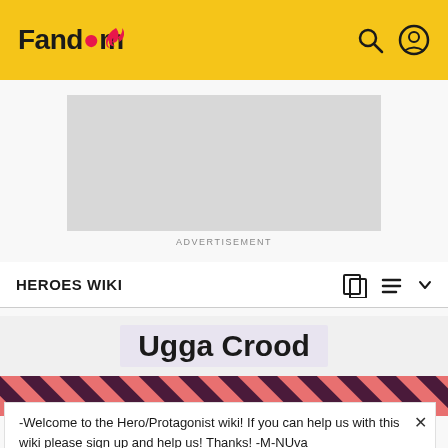Fandom
[Figure (other): Gray advertisement placeholder rectangle]
ADVERTISEMENT
HEROES WIKI
Ugga Crood
[Figure (other): Diagonal pink and dark purple striped banner]
-Welcome to the Hero/Protagonist wiki! If you can help us with this wiki please sign up and help us! Thanks! -M-NUva